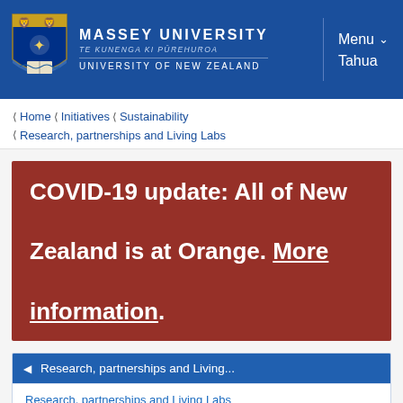[Figure (logo): Massey University crest/shield with lions and star]
MASSEY UNIVERSITY TE KUNENGA KI PŪREHUROA UNIVERSITY OF NEW ZEALAND | Menu ∨ Tahua
< Home < Initiatives < Sustainability < Research, partnerships and Living Labs
COVID-19 update: All of New Zealand is at Orange. More information.
◄ Research, partnerships and Living...
Research, partnerships and Living Labs